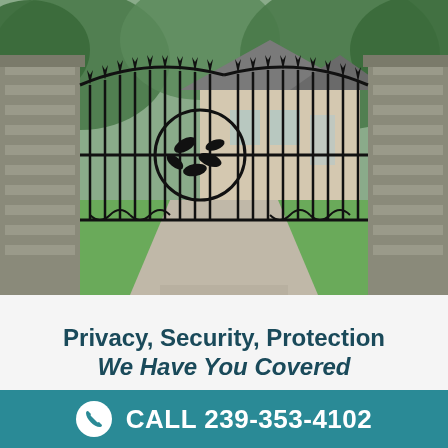[Figure (photo): Ornate black wrought iron double gate between two stone pillars, leading to a driveway with a large house and green trees in the background.]
Privacy, Security, Protection
We Have You Covered
CALL 239-353-4102